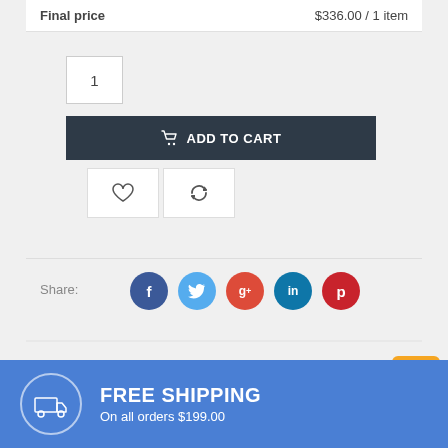Final price   $336.00 / 1 item
1
ADD TO CART
[Figure (illustration): Heart icon button and refresh/compare icon button]
Share:
[Figure (illustration): Social share icons: Facebook, Twitter, Google+, LinkedIn, Pinterest]
[Figure (illustration): Top button with orange background and upward arrow]
[Figure (illustration): Blue banner with truck icon, FREE SHIPPING text, On all orders $199.00]